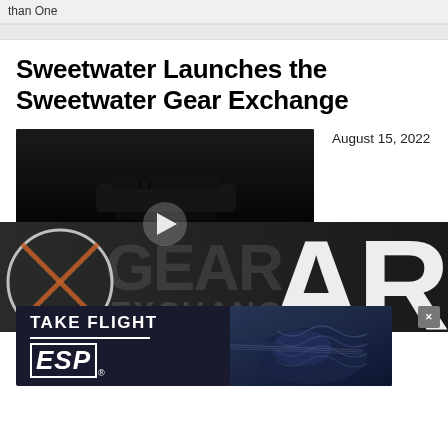than One
Sweetwater Launches the Sweetwater Gear Exchange
August 15, 2022
[Figure (screenshot): Video thumbnail showing a dark product shot with a play button overlay, for the Sweetwater Gear Exchange launch video]
[Figure (photo): Sweetwater Gear Exchange branding background with large 'AR' lettering and circular logo on dark background, plus 'EXCHANGE' text]
[Figure (infographic): ESP Guitars 'Take Flight' advertisement banner showing ESP logo and guitar image on dark background]